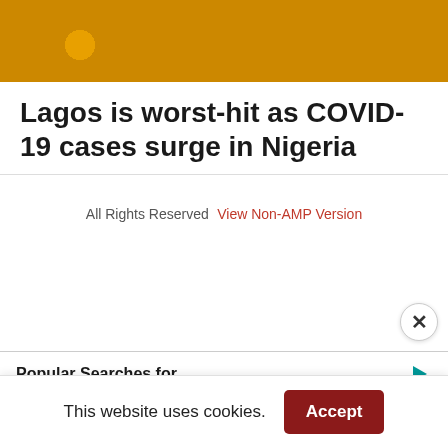[Figure (photo): Cropped photo showing colorful laboratory test tubes/vials, with blue, yellow, and purple colors visible against a grey background]
Lagos is worst-hit as COVID-19 cases surge in Nigeria
All Rights Reserved  View Non-AMP Version
Popular Searches for
Travel Booking Checklist
This website uses cookies.  Accept